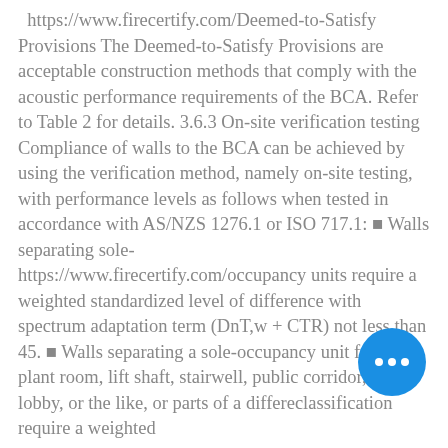https://www.firecertify.com/Deemed-to-Satisfy Provisions The Deemed-to-Satisfy Provisions are acceptable construction methods that comply with the acoustic performance requirements of the BCA. Refer to Table 2 for details. 3.6.3 On-site verification testing Compliance of walls to the BCA can be achieved by using the verification method, namely on-site testing, with performance levels as follows when tested in accordance with AS/NZS 1276.1 or ISO 717.1: ■ Walls separating sole-  https://www.firecertify.com/occupancy units require a weighted standardized level of difference with spectrum adaptation term (DnT,w + CTR) not less than 45. ■ Walls separating a sole-occupancy unit from a plant room, lift shaft, stairwell, public corridor, public lobby, or the like, or parts of a different classification require a weighted